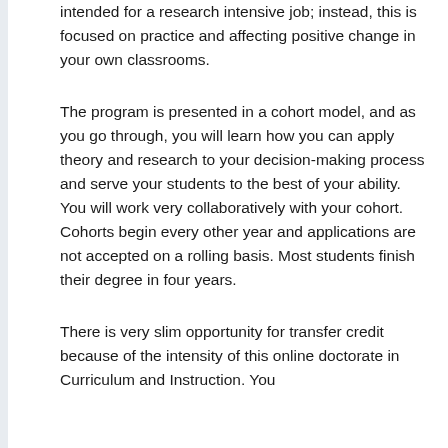intended for a research intensive job; instead, this is focused on practice and affecting positive change in your own classrooms.
The program is presented in a cohort model, and as you go through, you will learn how you can apply theory and research to your decision-making process and serve your students to the best of your ability. You will work very collaboratively with your cohort. Cohorts begin every other year and applications are not accepted on a rolling basis. Most students finish their degree in four years.
There is very slim opportunity for transfer credit because of the intensity of this online doctorate in Curriculum and Instruction. You